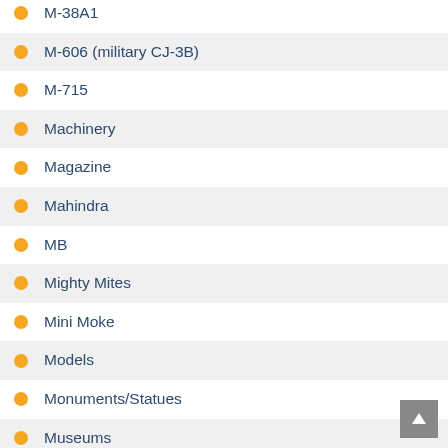M-38A1
M-606 (military CJ-3B)
M-715
Machinery
Magazine
Mahindra
MB
Mighty Mites
Mini Moke
Models
Monuments/Statues
Museums
News
Nissan
OD Other
OD Borg Warner/Rancho